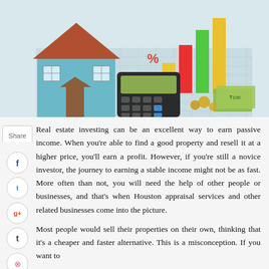[Figure (photo): Illustration of real estate investing: a model house, colorful bar chart columns, a calculator, percentage sign symbols, and stacks of money on a grid/blueprint background.]
Real estate investing can be an excellent way to earn passive income. When you're able to find a good property and resell it at a higher price, you'll earn a profit. However, if you're still a novice investor, the journey to earning a stable income might not be as fast. More often than not, you will need the help of other people or businesses, and that's when Houston appraisal services and other related businesses come into the picture.
Most people would sell their properties on their own, thinking that it's a cheaper and faster alternative. This is a misconception. If you want to